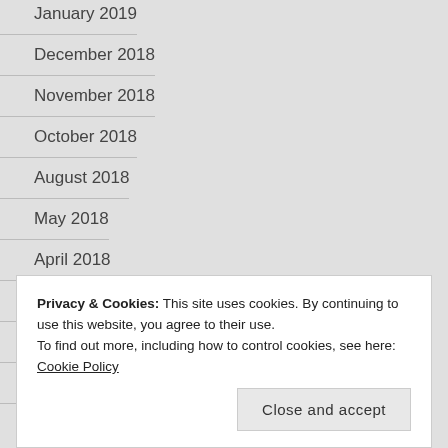January 2019
December 2018
November 2018
October 2018
August 2018
May 2018
April 2018
March 2018
February 2018
December 2017
Privacy & Cookies: This site uses cookies. By continuing to use this website, you agree to their use.
To find out more, including how to control cookies, see here: Cookie Policy
Close and accept